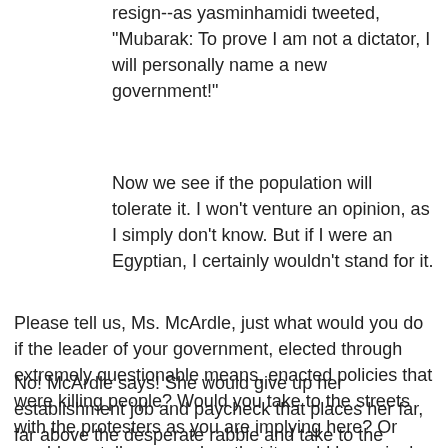resign--as yasminhamidi tweeted, "Mubarak: To prove I am not a dictator, I will personally name a new government!"
Now we see if the population will tolerate it. I won't venture an opinion, as I simply don't know. But if I were an Egyptian, I certainly wouldn't stand for it.
Please tell us, Ms. McArdle, just what would you do if the leader of your government, elected through extremely questionable means, enacted policies that were killing people? Would you take to the streets with the protesters as you are implying here? Or would you tell your readers that it would be a giggle if the police/military picked up a 2x4 and start bashing them in the heads? Preemptively, that is.
No! McArdle says! She would give up her establishment job and paycheck that places her far, far above the desperate rabble and take to the streets in protest. She wouldn't